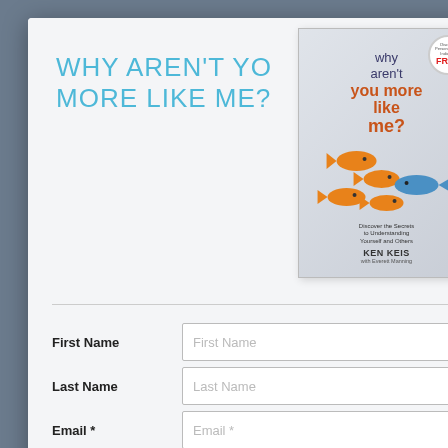WHY AREN'T YOU MORE LIKE ME?
[Figure (illustration): Book cover for 'Why Aren't You More Like Me?' by Ken Keis, showing goldfish and one blue fish swimming among orange ones, with a FREE badge in top right corner]
DISCO... UND... AND O...
First Name
Last Name
Email *
Submit
Required *